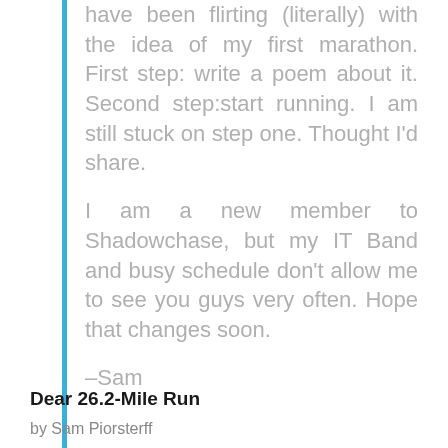have been flirting (literally) with the idea of my first marathon. First step: write a poem about it. Second step:start running. I am still stuck on step one. Thought I'd share.

I am a new member to Shadowchase, but my IT Band and busy schedule don't allow me to see you guys very often. Hope that changes soon.

–Sam
Dear 26.2-Mile Run
by Sam Piorsterff